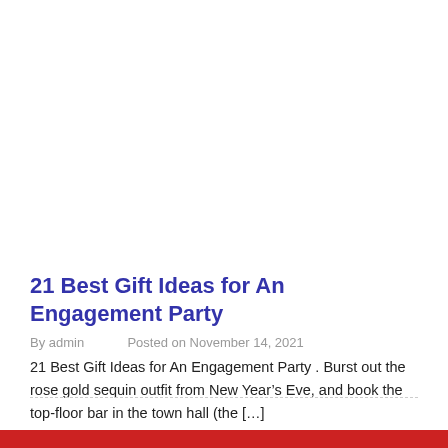21 Best Gift Ideas for An Engagement Party
By admin   Posted on November 14, 2021
21 Best Gift Ideas for An Engagement Party . Burst out the rose gold sequin outfit from New Year’s Eve, and book the top-floor bar in the town hall (the […]